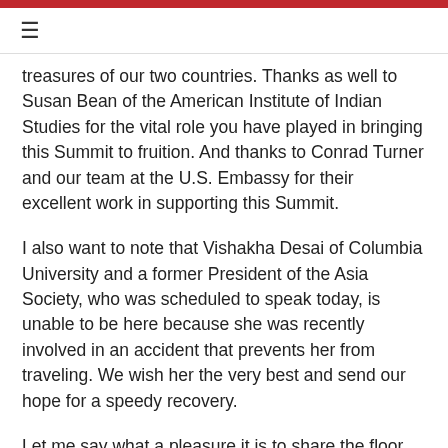≡
treasures of our two countries. Thanks as well to Susan Bean of the American Institute of Indian Studies for the vital role you have played in bringing this Summit to fruition. And thanks to Conrad Turner and our team at the U.S. Embassy for their excellent work in supporting this Summit.
I also want to note that Vishakha Desai of Columbia University and a former President of the Asia Society, who was scheduled to speak today, is unable to be here because she was recently involved in an accident that prevents her from traveling. We wish her the very best and send our hope for a speedy recovery.
Let me say what a pleasure it is to share the floor with Senator Snyder, because as significantly the...